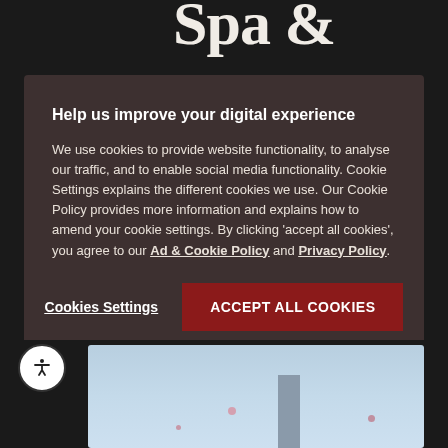Spa &
Help us improve your digital experience
We use cookies to provide website functionality, to analyse our traffic, and to enable social media functionality. Cookie Settings explains the different cookies we use. Our Cookie Policy provides more information and explains how to amend your cookie settings. By clicking 'accept all cookies', you agree to our Ad & Cookie Policy and Privacy Policy.
Cookies Settings
ACCEPT ALL COOKIES
[Figure (photo): Spa outdoor pool or terrace area with light blue sky background and a vertical structural element, small floral decorations visible]